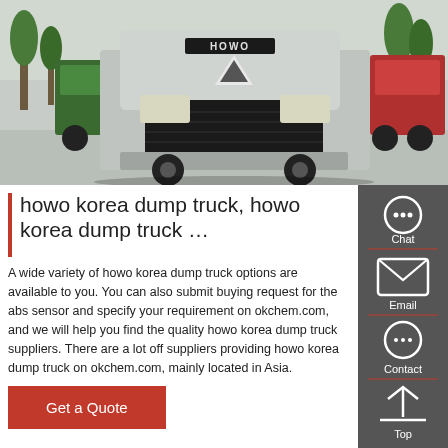[Figure (photo): Front view of a HOWO heavy-duty truck (silver/grey cab) in a parking lot with green and red trucks and trees in background]
howo korea dump truck, howo korea dump truck …
A wide variety of howo korea dump truck options are available to you. You can also submit buying request for the abs sensor and specify your requirement on okchem.com, and we will help you find the quality howo korea dump truck suppliers. There are a lot off suppliers providing howo korea dump truck on okchem.com, mainly located in Asia.
[Figure (infographic): Sidebar with Chat, Email, Contact, Top buttons on dark grey background]
Get a Quote